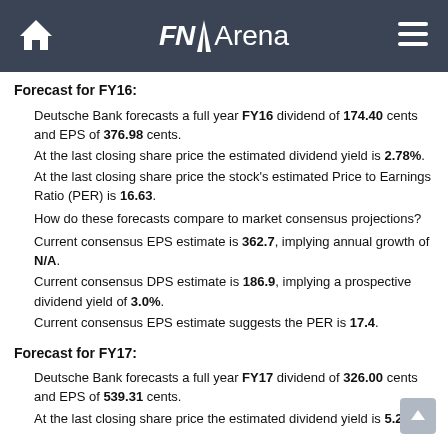FNArena
Forecast for FY16:
Deutsche Bank forecasts a full year FY16 dividend of 174.40 cents and EPS of 376.98 cents.
At the last closing share price the estimated dividend yield is 2.78%.
At the last closing share price the stock's estimated Price to Earnings Ratio (PER) is 16.63.
How do these forecasts compare to market consensus projections?
Current consensus EPS estimate is 362.7, implying annual growth of N/A.
Current consensus DPS estimate is 186.9, implying a prospective dividend yield of 3.0%.
Current consensus EPS estimate suggests the PER is 17.4.
Forecast for FY17:
Deutsche Bank forecasts a full year FY17 dividend of 326.00 cents and EPS of 539.31 cents.
At the last closing share price the estimated dividend yield is 5.20%.